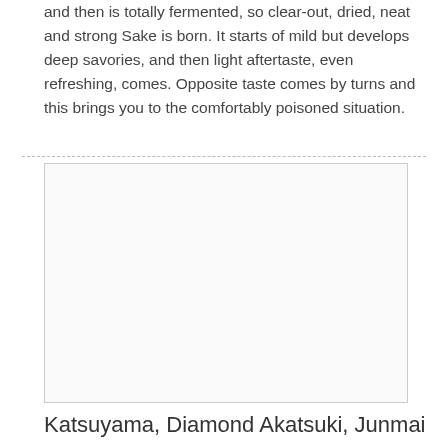and then is totally fermented, so clear-out, dried, neat and strong Sake is born. It starts of mild but develops deep savories, and then light aftertaste, even refreshing, comes. Opposite taste comes by turns and this brings you to the comfortably poisoned situation.
[Figure (photo): Empty white/light gray rectangular image placeholder with a thin border]
Katsuyama, Diamond Akatsuki, Junmai